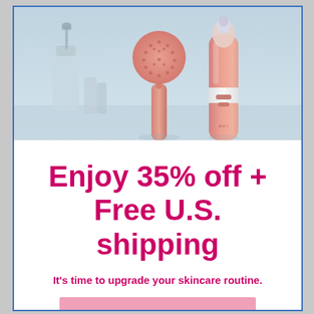[Figure (photo): Product photo showing two pink skincare devices — a facial cleansing brush and an electric facial tool — against a blurred light blue bathroom background with a soap dispenser.]
Enjoy 35% off + Free U.S. shipping
It's time to upgrade your skincare routine.